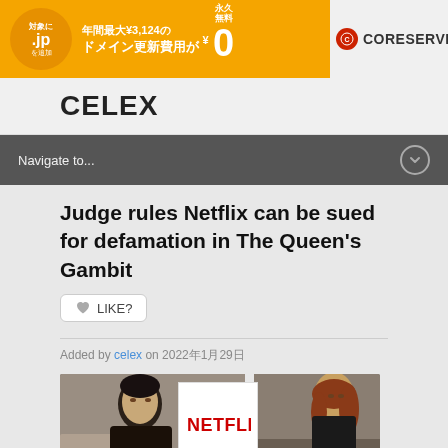[Figure (illustration): Advertisement banner for CORESERVER domain service: yellow/orange background with .jp domain promotion, text in Japanese '対象に .jp を追加', '年間最大¥3,124の ドメイン更新費用が', '永久無料 ¥0', CORESERVER logo on right with grey background]
CELEX
Navigate to...
Judge rules Netflix can be sued for defamation in The Queen's Gambit
LIKE?
Added by celex on 2022年1月29日
[Figure (photo): Article image showing an older woman on the left looking stern, a Netflix logo sign held up in the center, and a young woman with auburn hair on the right]